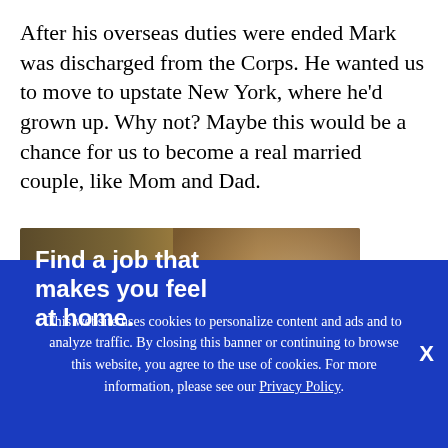After his overseas duties were ended Mark was discharged from the Corps. He wanted us to move to upstate New York, where he'd grown up. Why not? Maybe this would be a chance for us to become a real married couple, like Mom and Dad.
[Figure (photo): Advertisement banner showing a person smiling in a kitchen-like setting with bold white text reading 'Find a job that makes you feel at home.']
This website uses cookies to personalize content and ads and to analyze traffic. By closing this banner or continuing to browse this website, you agree to the use of cookies. For more information, please see our Privacy Policy.